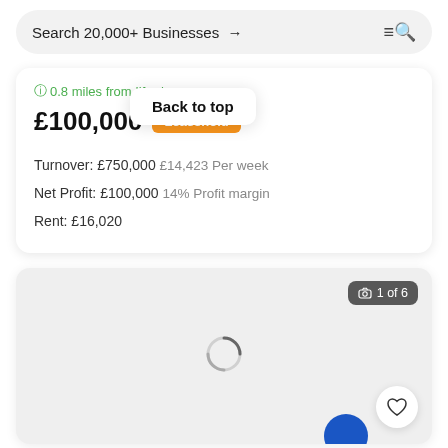Search 20,000+ Businesses →
0.8 miles from Ilforr'
Back to top
£100,000  Leasehold
Turnover: £750,000 £14,423 Per week
Net Profit: £100,000 14% Profit margin
Rent: £16,020
[Figure (photo): Loading image placeholder with spinner, showing 1 of 6 photos, with heart/favorite button and partial blue circle button]